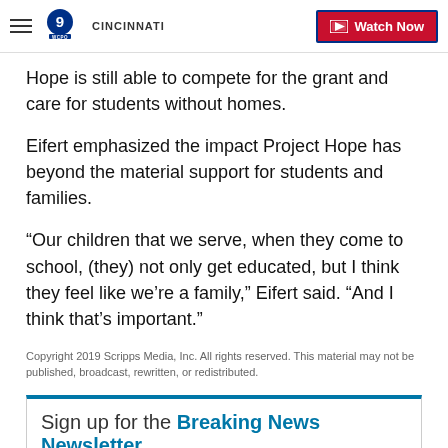WCPO 9 Cincinnati | Watch Now
Hope is still able to compete for the grant and care for students without homes.
Eifert emphasized the impact Project Hope has beyond the material support for students and families.
“Our children that we serve, when they come to school, (they) not only get educated, but I think they feel like we’re a family,” Eifert said. “And I think that’s important.”
Copyright 2019 Scripps Media, Inc. All rights reserved. This material may not be published, broadcast, rewritten, or redistributed.
Sign up for the Breaking News Newsletter